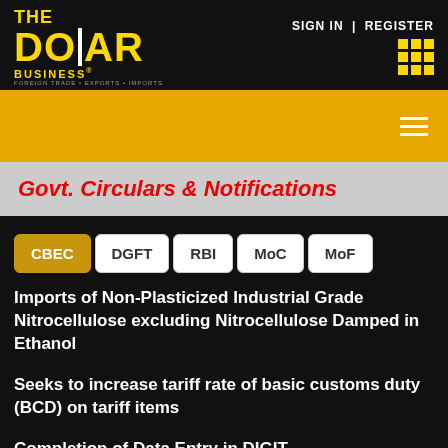THE DOLLAR BUSINESS | FOREIGN TRADE • EXPORTS • IMPORTS | SIGN IN | REGISTER
Govt. Circulars & Notifications
CBEC
DGFT
RBI
MoC
MoF
Imports of Non-Plasticized Industrial Grade Nitrocellulose excluding Nitrocellulose Damped in Ethanol
Seeks to increase tariff rate of basic customs duty (BCD) on tariff items
Completion of Data Entry in DIGIT